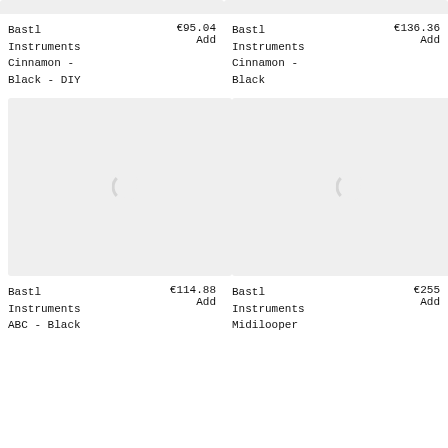[Figure (other): Loading placeholder image top-left (grey box, partial)]
Bastl Instruments Cinnamon - Black - DIY
€95.04
Add
[Figure (other): Loading placeholder image top-right (grey box, partial)]
Bastl Instruments Cinnamon - Black
€136.36
Add
[Figure (other): Loading placeholder image bottom-left (grey box with spinner)]
Bastl Instruments ABC - Black
€114.88
Add
[Figure (other): Loading placeholder image bottom-right (grey box with spinner)]
Bastl Instruments Midilooper
€255
Add